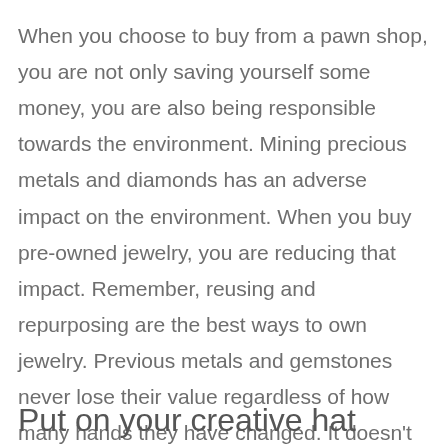When you choose to buy from a pawn shop, you are not only saving yourself some money, you are also being responsible towards the environment. Mining precious metals and diamonds has an adverse impact on the environment. When you buy pre-owned jewelry, you are reducing that impact. Remember, reusing and repurposing are the best ways to own jewelry. Previous metals and gemstones never lose their value regardless of how many hands they have changed. It doesn't matter whether you buy it from a retail store or a pawn shop, you get the same value and you indirectly help the environment as well.
Put on your creative hat